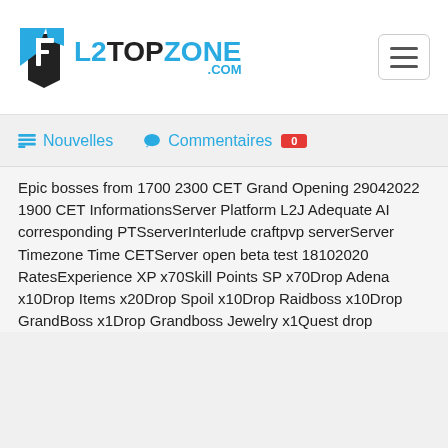[Figure (logo): L2TopZone.com logo with stylized F/Y icon in blue and black]
L2TOPZONE .COM
Nouvelles   Commentaires 0
Epic bosses from 1700 2300 CET Grand Opening 29042022 1900 CET InformationsServer Platform L2J Adequate AI corresponding PTSserverInterlude craftpvp serverServer Timezone Time CETServer open beta test 18102020 RatesExperience XP x70Skill Points SP x70Drop Adena x10Drop Items x20Drop Spoil x10Drop Raidboss x10Drop GrandBoss x1Drop Grandboss Jewelry x1Quest drop